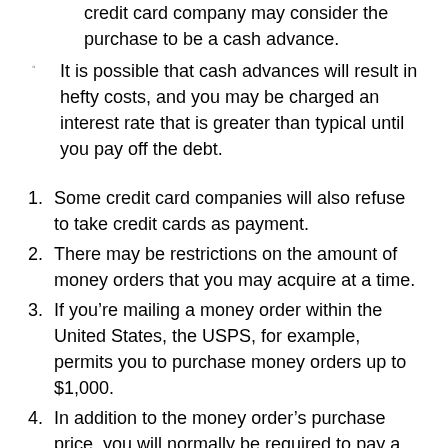credit card company may consider the purchase to be a cash advance.
It is possible that cash advances will result in hefty costs, and you may be charged an interest rate that is greater than typical until you pay off the debt.
Some credit card companies will also refuse to take credit cards as payment.
There may be restrictions on the amount of money orders that you may acquire at a time.
If you’re mailing a money order within the United States, the USPS, for example, permits you to purchase money orders up to $1,000.
In addition to the money order’s purchase price, you will normally be required to pay a charge ranging from $1 to $10.